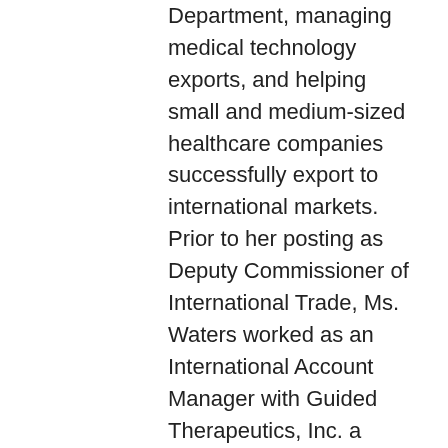Department, managing medical technology exports, and helping small and medium-sized healthcare companies successfully export to international markets. Prior to her posting as Deputy Commissioner of International Trade, Ms. Waters worked as an International Account Manager with Guided Therapeutics, Inc. a medical device manufacturer and exporter located in Norcross, Georgia. She was responsible for the Company's business development initiatives in Latin America and Africa. Ms. Waters is active in trade policy, and serves as a Board Member for the Southeast Region with the State International Development